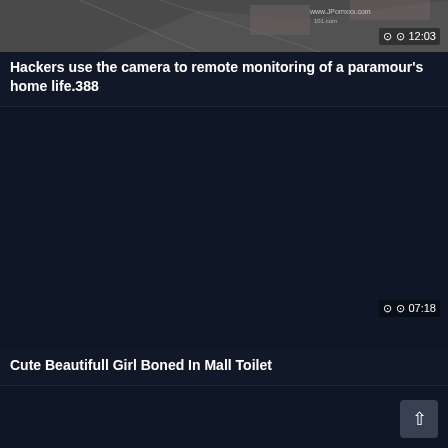[Figure (screenshot): Security camera footage thumbnail showing overhead view, with watermark www.JPornxxx.com]
12:03
Hackers use the camera to remote monitoring of a paramour's home life.388
[Figure (screenshot): Dark thumbnail for second video]
07:18
Cute Beautifull Girl Boned In Mall Toilet
[Figure (screenshot): Dark thumbnail for third video, partially visible]